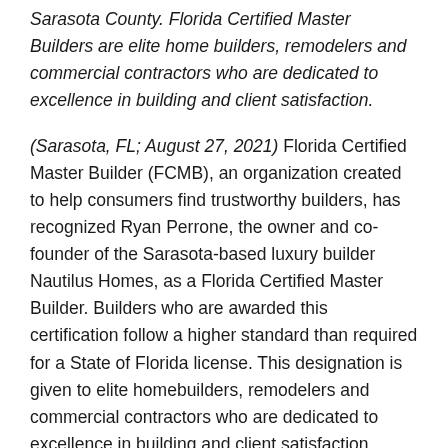Sarasota County. Florida Certified Master Builders are elite home builders, remodelers and commercial contractors who are dedicated to excellence in building and client satisfaction.
(Sarasota, FL; August 27, 2021) Florida Certified Master Builder (FCMB), an organization created to help consumers find trustworthy builders, has recognized Ryan Perrone, the owner and co-founder of the Sarasota-based luxury builder Nautilus Homes, as a Florida Certified Master Builder. Builders who are awarded this certification follow a higher standard than required for a State of Florida license. This designation is given to elite homebuilders, remodelers and commercial contractors who are dedicated to excellence in building and client satisfaction. Perrone is one of only 32 builders in Florida and three in Sarasota County to receive a Master Builder certification.